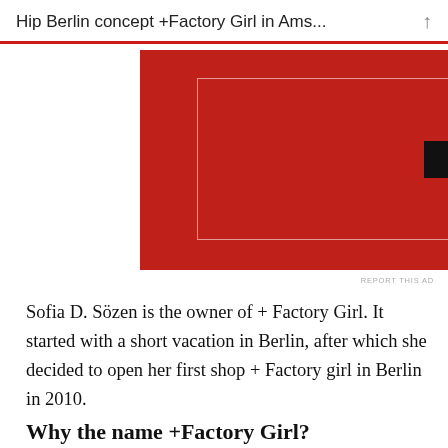Hip Berlin concept +Factory Girl in Ams...
[Figure (screenshot): Red advertisement banner with a dark button labeled 'Start reading' inside a white-bordered box]
REPORT THIS AD
Sofia D. Sözen is the owner of + Factory Girl. It started with a short vacation in Berlin, after which she decided to open her first shop + Factory girl in Berlin in 2010.
Why the name +Factory Girl?
The name “+ Factory Girl” stands for “girls who are always busy producing, making and creating,” says the owner Sofia. She therefore sees herself as a real + Factory Girl. The plus sign in the name stands for the